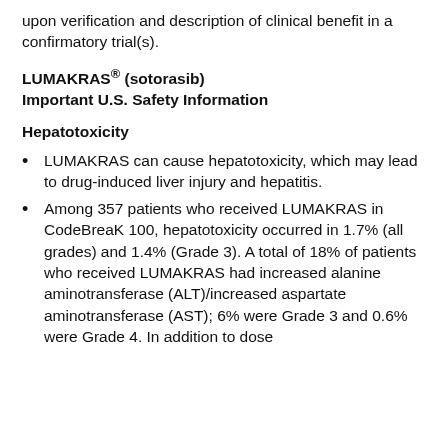upon verification and description of clinical benefit in a confirmatory trial(s).
LUMAKRAS® (sotorasib) Important U.S. Safety Information
Hepatotoxicity
LUMAKRAS can cause hepatotoxicity, which may lead to drug-induced liver injury and hepatitis.
Among 357 patients who received LUMAKRAS in CodeBreaK 100, hepatotoxicity occurred in 1.7% (all grades) and 1.4% (Grade 3). A total of 18% of patients who received LUMAKRAS had increased alanine aminotransferase (ALT)/increased aspartate aminotransferase (AST); 6% were Grade 3 and 0.6% were Grade 4. In addition to dose